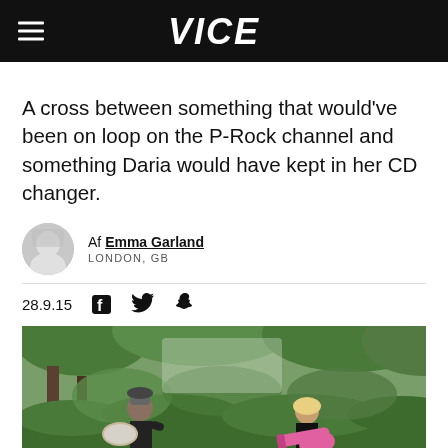VICE
A cross between something that would've been on loop on the P-Rock channel and something Daria would have kept in her CD changer.
Af Emma Garland
LONDON, GB
28.9.15
[Figure (photo): Two musicians outdoors in a park or garden setting with green trees. On the left, a person in a dark t-shirt and jeans is playing/holding a drum. On the right, a blonde woman in a black t-shirt is playing a pink electric guitar.]